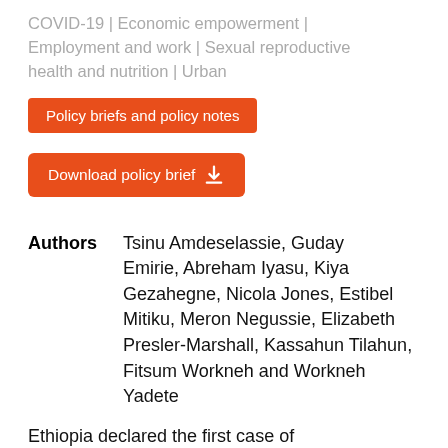COVID-19 | Economic empowerment | Employment and work | Sexual reproductive health and nutrition | Urban
Policy briefs and policy notes
Download policy brief
Authors: Tsinu Amdeselassie, Guday Emirie, Abreham Iyasu, Kiya Gezahegne, Nicola Jones, Estibel Mitiku, Meron Negussie, Elizabeth Presler-Marshall, Kassahun Tilahun, Fitsum Workneh and Workneh Yadete
Ethiopia declared the first case of coronavirus on the 13 March 2020, and while